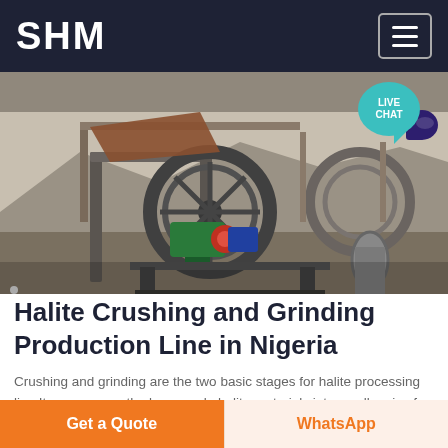SHM
[Figure (photo): Industrial halite crushing and grinding machinery at a production line in Nigeria, showing large mechanical equipment with wheels, conveyor components, and industrial structures in an outdoor setting.]
Halite Crushing and Grinding Production Line in Nigeria
Crushing and grinding are the two basic stages for halite processing line It can process the large scale halite materials into smaller size for the next
Get a Quote  WhatsApp